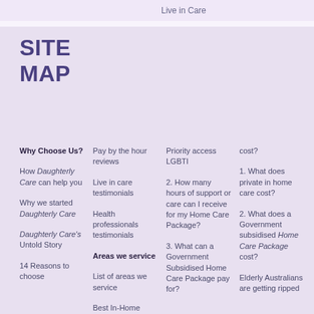Live in Care
SITE MAP
Why Choose Us?
How Daughterly Care can help you
Why we started Daughterly Care
Daughterly Care's Untold Story
14 Reasons to choose
Pay by the hour reviews
Live in care testimonials
Health professionals testimonials
Areas we service
List of areas we service
Best In-Home
Priority access LGBTI
2. How many hours of support or care can I receive for my Home Care Package?
3. What can a Government Subsidised Home Care Package pay for?
cost?
1. What does private in home care cost?
2. What does a Government subsidised Home Care Package cost?
Elderly Australians are getting ripped